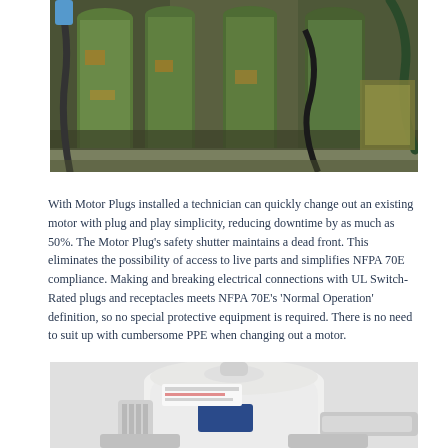[Figure (photo): Industrial photo showing rusty/weathered green metal cylinders or motor mounts on a workbench, with hoses and cables attached.]
With Motor Plugs installed a technician can quickly change out an existing motor with plug and play simplicity, reducing downtime by as much as 50%. The Motor Plug's safety shutter maintains a dead front. This eliminates the possibility of access to live parts and simplifies NFPA 70E compliance. Making and breaking electrical connections with UL Switch-Rated plugs and receptacles meets NFPA 70E's 'Normal Operation' definition, so no special protective equipment is required. There is no need to suit up with cumbersome PPE when changing out a motor.
[Figure (photo): Photo of a white electric motor (partially visible at bottom of page).]